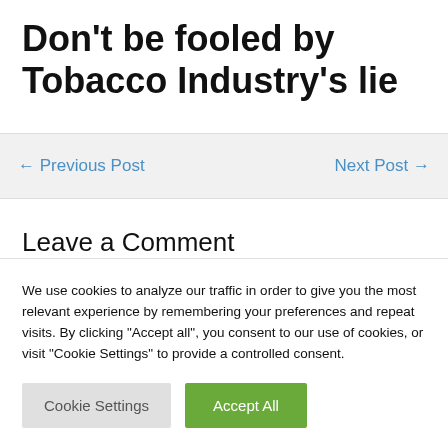Don't be fooled by Tobacco Industry's lie
← Previous Post
Next Post →
Leave a Comment
We use cookies to analyze our traffic in order to give you the most relevant experience by remembering your preferences and repeat visits. By clicking "Accept all", you consent to our use of cookies, or visit "Cookie Settings" to provide a controlled consent.
Cookie Settings | Accept All